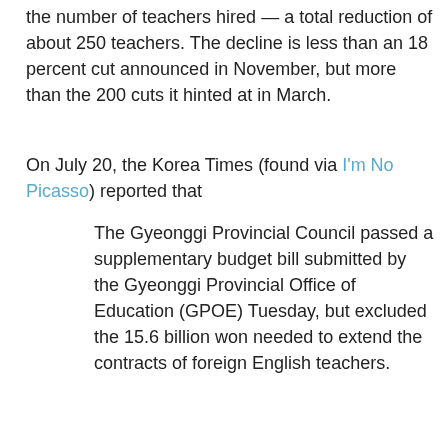the number of teachers hired — a total reduction of about 250 teachers. The decline is less than an 18 percent cut announced in November, but more than the 200 cuts it hinted at in March.
On July 20, the Korea Times (found via I'm No Picasso) reported that
The Gyeonggi Provincial Council passed a supplementary budget bill submitted by the Gyeonggi Provincial Office of Education (GPOE) Tuesday, but excluded the 15.6 billion won needed to extend the contracts of foreign English teachers.
Officials from the council said that they cut the budget as part of long-term plans to eventually reduce the number of foreign teachers and replace them with Koreans.
With the budget cut, about 819 teachers will have to find new jobs in the coming months, officials